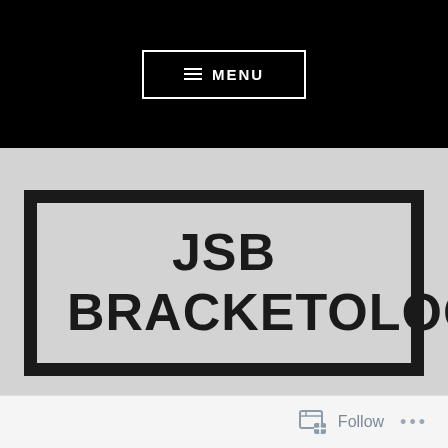≡ MENU
JSB BRACKETOLOGY
Follow ...